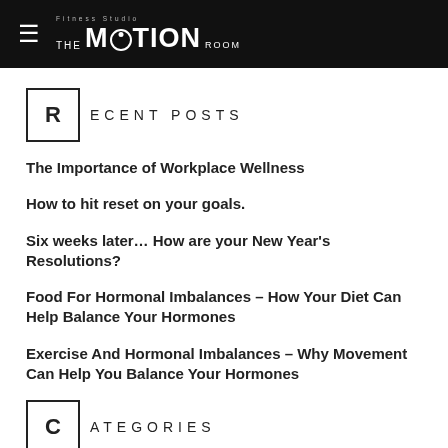THE MOTION ROOM — Fitness Studio
RECENT POSTS
The Importance of Workplace Wellness
How to hit reset on your goals.
Six weeks later… How are your New Year's Resolutions?
Food For Hormonal Imbalances – How Your Diet Can Help Balance Your Hormones
Exercise And Hormonal Imbalances – Why Movement Can Help You Balance Your Hormones
CATEGORIES